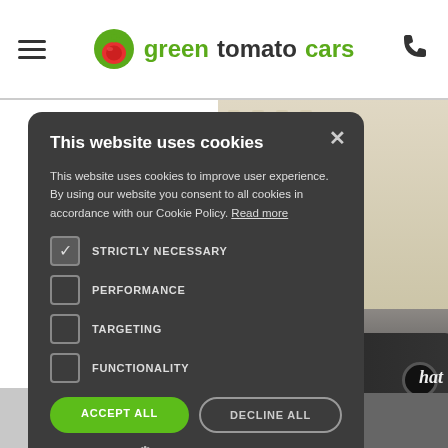greentomatocars
[Figure (screenshot): Website background showing a building with columns and a dark luxury car parked in front, partially visible behind the cookie consent modal.]
This website uses cookies
This website uses cookies to improve user experience. By using our website you consent to all cookies in accordance with our Cookie Policy. Read more
STRICTLY NECESSARY
PERFORMANCE
TARGETING
FUNCTIONALITY
ACCEPT ALL
DECLINE ALL
SHOW DETAILS